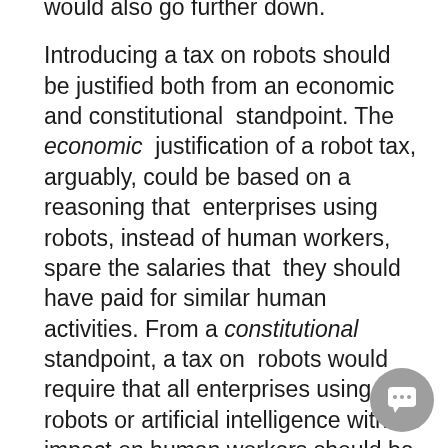would also go further down. Introducing a tax on robots should be justified both from an economic and constitutional standpoint. The economic justification of a robot tax, arguably, could be based on a reasoning that enterprises using robots, instead of human workers, spare the salaries that they should have paid for similar human activities. From a constitutional standpoint, a tax on robots would require that all enterprises using robots or artificial intelligence with an impact on human workers should be treated in a similar fashion. In addition, the application of the principle of ability to pay raises new and delicate issues because, so